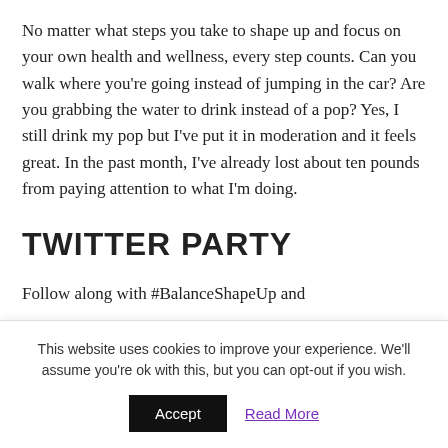No matter what steps you take to shape up and focus on your own health and wellness, every step counts. Can you walk where you're going instead of jumping in the car? Are you grabbing the water to drink instead of a pop? Yes, I still drink my pop but I've put it in moderation and it feels great. In the past month, I've already lost about ten pounds from paying attention to what I'm doing.
TWITTER PARTY
Follow along with #BalanceShapeUp and
This website uses cookies to improve your experience. We'll assume you're ok with this, but you can opt-out if you wish.